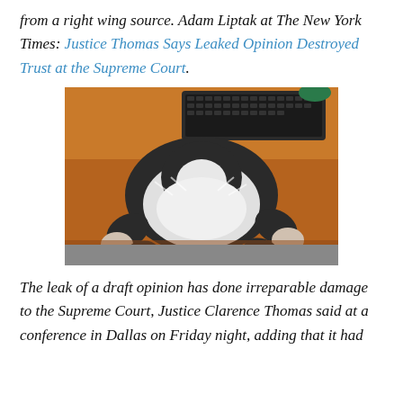from a right wing source. Adam Liptak at The New York Times: Justice Thomas Says Leaked Opinion Destroyed Trust at the Supreme Court.
[Figure (photo): A black and white cat lying on its back on a wooden desk, with a keyboard visible in the background.]
The leak of a draft opinion has done irreparable damage to the Supreme Court, Justice Clarence Thomas said at a conference in Dallas on Friday night, adding that it had